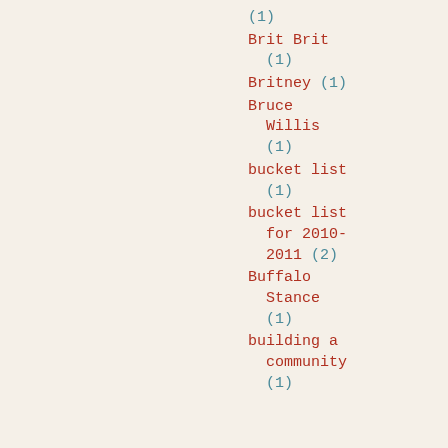(1)
Brit Brit (1)
Britney (1)
Bruce Willis (1)
bucket list (1)
bucket list for 2010-2011 (2)
Buffalo Stance (1)
building a community (1)